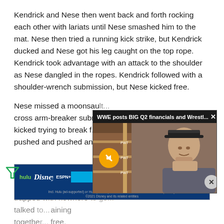Kendrick and Nese then went back and forth rocking each other with lariats until Nese smashed him to the mat. Nese then tried a running kick strike, but Kendrick ducked and Nese got his leg caught on the top rope. Kendrick took advantage with an attack to the shoulder as Nese dangled in the ropes. Kendrick followed with a shoulder-wrench submission, but Nese kicked free.
Nese missed a moonsault... cross arm-breaker subm... kicked trying to break f... pushed and pushed and... Kendrick re-applied. Ne... trapped with nowhere... talked... training together... free, but the damage was done.
[Figure (screenshot): Video popup overlay showing WWE posts BIG Q2 financials and Wrestl... title, with PWTORCH branding, a muted video of a man in a baseball cap against a wrestling ring background, and a close button]
[Figure (screenshot): Disney Bundle advertisement banner with Hulu, Disney+, and ESPN+ logos, GET THE DISNEY BUNDLE call to action, and fine print about ad-supported plans. Incl. Hulu (ad-supported) or Hulu (No Ads). Access content from each service separately. ©2021 Disney and its related entities]